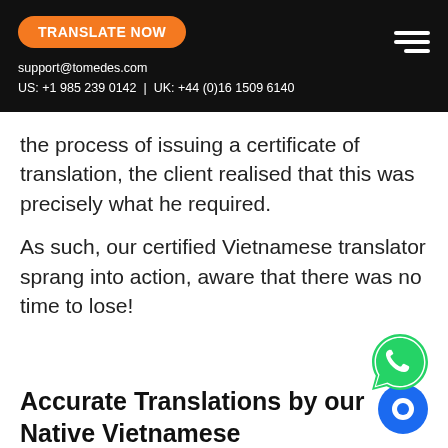TRANSLATE NOW | support@tomedes.com | US: +1 985 239 0142 | UK: +44 (0)16 1509 6140
the process of issuing a certificate of translation, the client realised that this was precisely what he required.
As such, our certified Vietnamese translator sprang into action, aware that there was no time to lose!
[Figure (logo): WhatsApp green phone icon]
Accurate Translations by our Native Vietnamese Translators
[Figure (logo): Blue chat bubble icon]